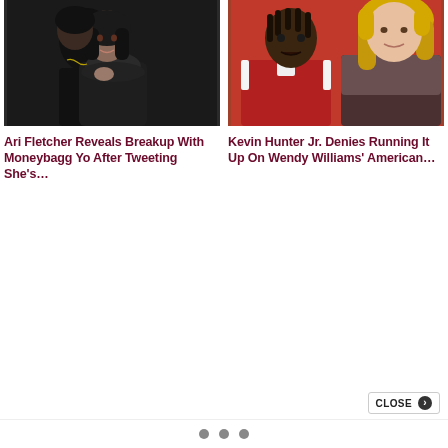[Figure (photo): A couple dressed in black at a formal event. Dark background, woman in ruffled black outfit.]
Ari Fletcher Reveals Breakup With Moneybagg Yo After Tweeting She’s…
[Figure (photo): A young man in a red varsity jacket next to a blonde woman.]
Kevin Hunter Jr. Denies Running It Up On Wendy Williams’ American…